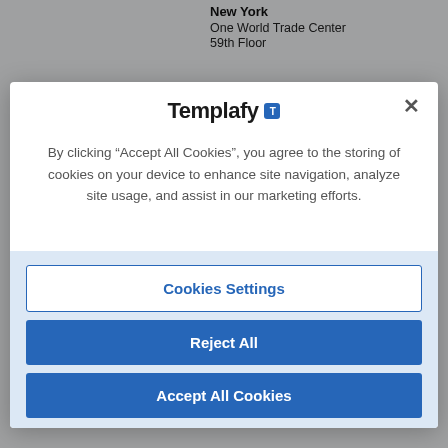New York
One World Trade Center
59th Floor
[Figure (screenshot): Templafy cookie consent modal dialog with logo, close button (×), descriptive text about cookies, and three buttons: Cookies Settings, Reject All, Accept All Cookies]
By clicking “Accept All Cookies”, you agree to the storing of cookies on your device to enhance site navigation, analyze site usage, and assist in our marketing efforts.
Cookies Settings
Reject All
Accept All Cookies